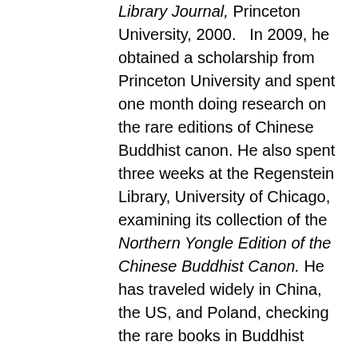Library Journal, Princeton University, 2000. In 2009, he obtained a scholarship from Princeton University and spent one month doing research on the rare editions of Chinese Buddhist canon. He also spent three weeks at the Regenstein Library, University of Chicago, examining its collection of the Northern Yongle Edition of the Chinese Buddhist Canon. He has traveled widely in China, the US, and Poland, checking the rare books in Buddhist